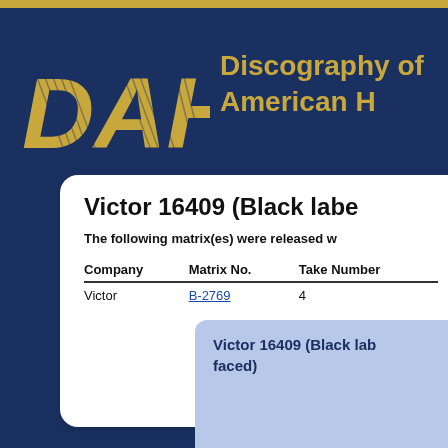[Figure (logo): DAHR logo with stylized golden letters and hatching pattern on dark navy background]
Discography of American Historical Recordings
Victor 16409 (Black label)
The following matrix(es) were released with this issue:
| Company | Matrix No. | Take Number |
| --- | --- | --- |
| Victor | B-2769 | 4 |
Victor 16409 (Black label, double-faced)